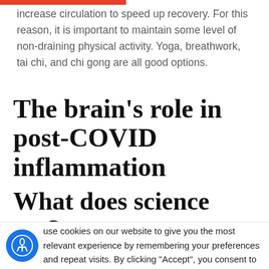increase circulation to speed up recovery. For this reason, it is important to maintain some level of non-draining physical activity. Yoga, breathwork, tai chi, and chi gong are all good options.
The brain’s role in post-COVID inflammation
What does science say?
One recent breakthrough in just the last decade has been understanding neuroplasticity, the brain’s ability to adapt and change. Neuroplasticity is what
use cookies on our website to give you the most relevant experience by remembering your preferences and repeat visits. By clicking “Accept”, you consent to